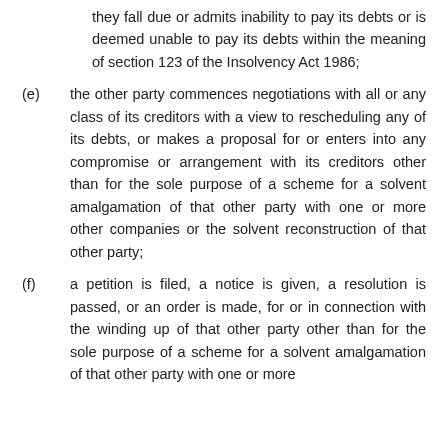they fall due or admits inability to pay its debts or is deemed unable to pay its debts within the meaning of section 123 of the Insolvency Act 1986;
(e) the other party commences negotiations with all or any class of its creditors with a view to rescheduling any of its debts, or makes a proposal for or enters into any compromise or arrangement with its creditors other than for the sole purpose of a scheme for a solvent amalgamation of that other party with one or more other companies or the solvent reconstruction of that other party;
(f) a petition is filed, a notice is given, a resolution is passed, or an order is made, for or in connection with the winding up of that other party other than for the sole purpose of a scheme for a solvent amalgamation of that other party with one or more